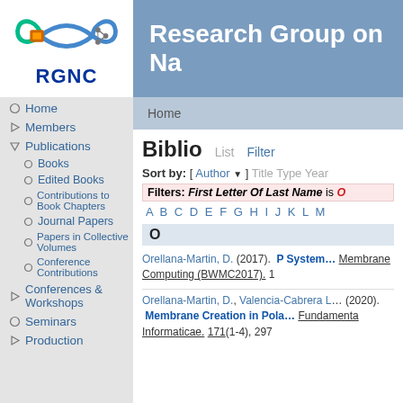[Figure (logo): RGNC logo with infinity symbol containing circuit board and neural network imagery, with text RGNC below]
Research Group on Na
Home
Home
Members
Publications
Books
Edited Books
Contributions to Book Chapters
Journal Papers
Papers in Collective Volumes
Conference Contributions
Conferences & Workshops
Seminars
Production
Biblio
Sort by: [ Author ] Title Type Year
Filters: First Letter Of Last Name is O
A B C D E F G H I J K L M
O
Orellana-Martin, D. (2017).  P System... Membrane Computing (BWMC2017). 1
Orellana-Martin, D., Valencia-Cabrera L... (2020).  Membrane Creation in Pola... Fundamenta Informaticae. 171(1-4), 297